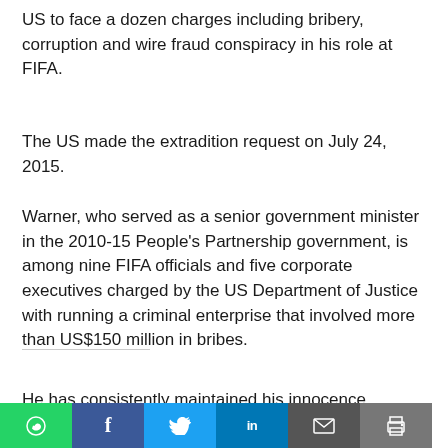US to face a dozen charges including bribery, corruption and wire fraud conspiracy in his role at FIFA.
The US made the extradition request on July 24, 2015.
Warner, who served as a senior government minister in the 2010-15 People's Partnership government, is among nine FIFA officials and five corporate executives charged by the US Department of Justice with running a criminal enterprise that involved more than US$150 million in bribes.
He has consistently maintained his innocence.
[Figure (screenshot): Audio player bar with play button, skip 10 seconds, volume, time display 00:00 / 00:00, and logo. Below it an 'OPEN IN NEW WINDOW' bar in black.]
[Figure (infographic): Social media share buttons: WhatsApp (green), Facebook (blue), Twitter (light blue), LinkedIn (dark blue), Email (grey), Print (grey)]